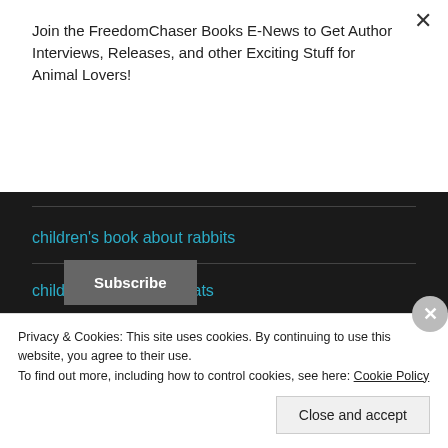Join the FreedomChaser Books E-News to Get Author Interviews, Releases, and other Exciting Stuff for Animal Lovers!
Subscribe
children's book about rabbits
children's book about rats
children's book about seals
Privacy & Cookies: This site uses cookies. By continuing to use this website, you agree to their use.
To find out more, including how to control cookies, see here: Cookie Policy
Close and accept